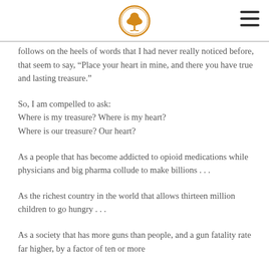[Logo: tree icon with orange circular border] [Hamburger menu icon]
follows on the heels of words that I had never really noticed before, that seem to say, “Place your heart in mine, and there you have true and lasting treasure.”
So, I am compelled to ask:
Where is my treasure? Where is my heart?
Where is our treasure? Our heart?
As a people that has become addicted to opioid medications while physicians and big pharma collude to make billions . . .
As the richest country in the world that allows thirteen million children to go hungry . . .
As a society that has more guns than people, and a gun fatality rate far higher, by a factor of ten or more